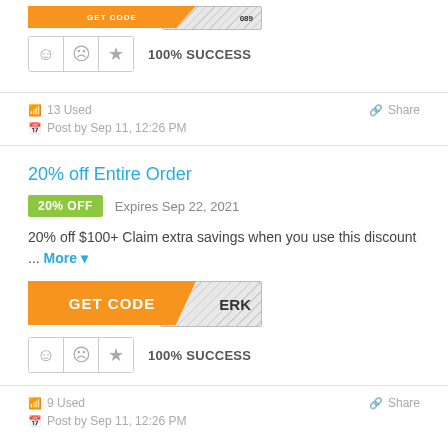[Figure (screenshot): GET CODE button with orange background and striped code area showing '089']
100% SUCCESS
13 Used
Share
Post by Sep 11, 12:26 PM
20% off Entire Order
20% OFF   Expires Sep 22, 2021
20% off $100+ Claim extra savings when you use this discount ... More
[Figure (screenshot): GET CODE button with orange background and striped code area showing 'ERK']
100% SUCCESS
9 Used
Share
Post by Sep 11, 12:26 PM